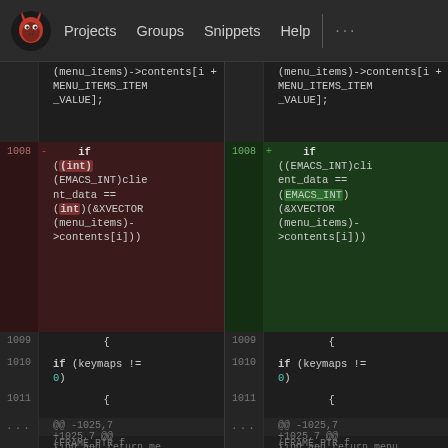Projects  Groups  Snippets  Help  ...
[Figure (screenshot): GitLab diff view showing two-pane code comparison of a C source file. Left pane shows removed lines (red background) with line numbers, right pane shows added lines (green background). Line 1008 shows a change from 'if ((int)(EMACS_INT)client_data == (int)(&XVECTOR(menu_items)->contents[i]))' to 'if ((EMACS_INT)client_data == (EMACS_INT)(&XVECTOR(menu_items)->contents[i]))'. Lines 1009-1011 show unchanged context with '{', 'if (keymaps != 0)', '{'. Bottom shows hunk header @@ -1025,7 +1025,7 @@ find_and_return_menu (FRAME_PTR f]